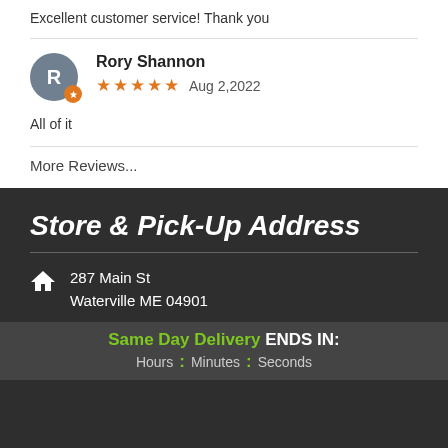Excellent customer service! Thank you
Rory Shannon — Aug 2,2022 — ★★★★★ — All of it
More Reviews...
Store & Pick-Up Address
287 Main St
Waterville ME 04901
Same Day Delivery ENDS IN:
Hours : Minutes : Seconds